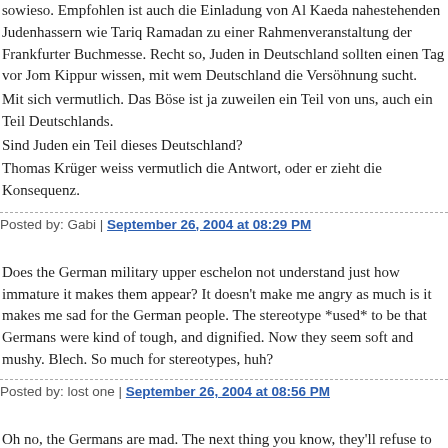sowieso. Empfohlen ist auch die Einladung von Al Kaeda nahestehenden Judenhassern wie Tariq Ramadan zu einer Rahmenveranstaltung der Frankfurter Buchmesse. Recht so, Juden in Deutschland sollten einen Tag vor Jom Kippur wissen, mit wem Deutschland die Versöhnung sucht.
Mit sich vermutlich. Das Böse ist ja zuweilen ein Teil von uns, auch ein Teil Deutschlands.
Sind Juden ein Teil dieses Deutschland?
Thomas Krüger weiss vermutlich die Antwort, oder er zieht die Konsequenz.
Posted by: Gabi | September 26, 2004 at 08:29 PM
Does the German military upper eschelon not understand just how immature it makes them appear? It doesn't make me angry as much is it makes me sad for the German people. The stereotype *used* to be that Germans were kind of tough, and dignified. Now they seem soft and mushy. Blech. So much for stereotypes, huh?
Posted by: lost one | September 26, 2004 at 08:56 PM
Oh no, the Germans are mad. The next thing you know, they'll refuse to help when we need them. Oh wait, that's happened already.